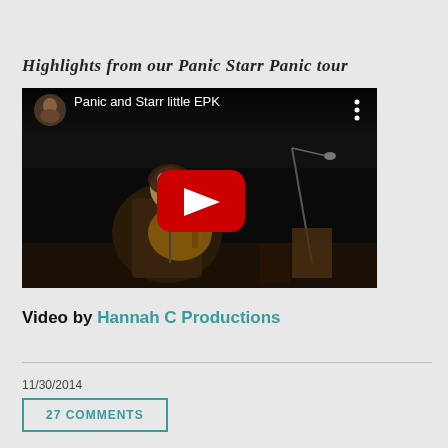Highlights from our Panic Starr Panic tour
[Figure (screenshot): YouTube video thumbnail showing 'Panic and Starr little EPK' with a performer playing guitar on stage, with a large red YouTube play button overlay.]
Video by Hannah C Productions
11/30/2014
27 COMMENTS